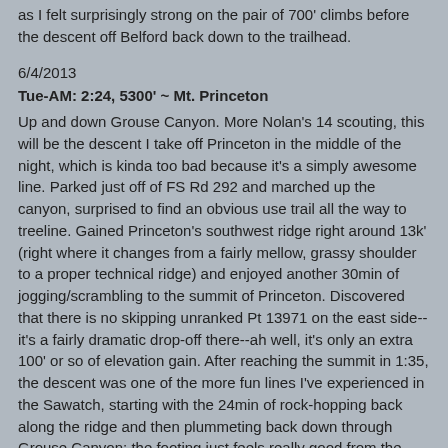as I felt surprisingly strong on the pair of 700' climbs before the descent off Belford back down to the trailhead.
6/4/2013
Tue-AM: 2:24, 5300' ~ Mt. Princeton
Up and down Grouse Canyon. More Nolan's 14 scouting, this will be the descent I take off Princeton in the middle of the night, which is kinda too bad because it's a simply awesome line. Parked just off of FS Rd 292 and marched up the canyon, surprised to find an obvious use trail all the way to treeline. Gained Princeton's southwest ridge right around 13k' (right where it changes from a fairly mellow, grassy shoulder to a proper technical ridge) and enjoyed another 30min of jogging/scrambling to the summit of Princeton. Discovered that there is no skipping unranked Pt 13971 on the east side--it's a fairly dramatic drop-off there--ah well, it's only an extra 100' or so of elevation gain. After reaching the summit in 1:35, the descent was one of the more fun lines I've experienced in the Sawatch, starting with the 24min of rock-hopping back along the ridge and then plummeting back down through Grouse Canyon; the footing just feels really good from the ridge all the way back down to the road.